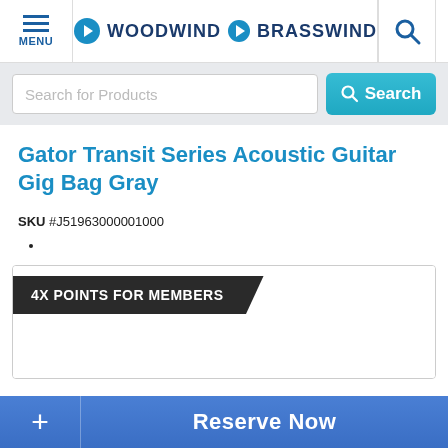MENU | WOODWIND & BRASSWIND
Search for Products
Gator Transit Series Acoustic Guitar Gig Bag Gray
SKU #J51963000001000
[Figure (infographic): 4X POINTS FOR MEMBERS banner on dark background]
Reserve Now